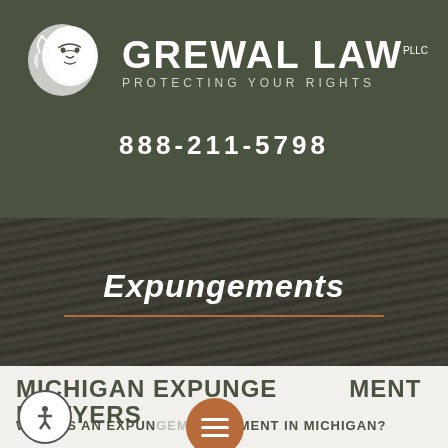[Figure (logo): Grewal Law PLLC logo with white lion head silhouette and firm name on dark olive green background]
888-211-5798
Expungements
MICHIGAN EXPUNGEMENT LAWYERS
WHAT IS AN EXPUNGEMENT IN MICHIGAN?